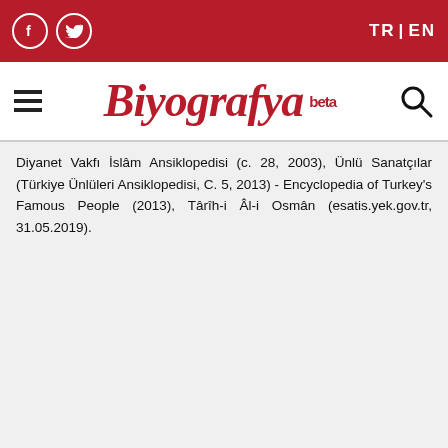TR | EN
[Figure (logo): Biyografya beta logo with hamburger menu and search icon]
Diyanet Vakfı İslâm Ansiklopedisi (c. 28, 2003), Ünlü Sanatçılar (Türkiye Ünlüleri Ansiklopedisi, C. 5, 2013) - Encyclopedia of Turkey's Famous People (2013), Târîh-i Âl-i Osmân (esatis.yek.gov.tr, 31.05.2019).